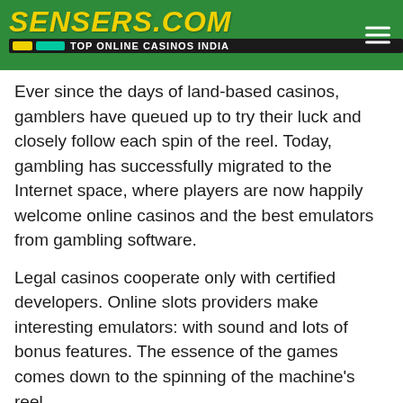SENSERS.COM — TOP ONLINE CASINOS INDIA
Ever since the days of land-based casinos, gamblers have queued up to try their luck and closely follow each spin of the reel. Today, gambling has successfully migrated to the Internet space, where players are now happily welcome online casinos and the best emulators from gambling software.
Legal casinos cooperate only with certified developers. Online slots providers make interesting emulators: with sound and lots of bonus features. The essence of the games comes down to the spinning of the machine's reel.
Players can set the necessary size bets and choose the right number of lines. The more lines – the higher the chance of winning, but the minimum bet will be different.